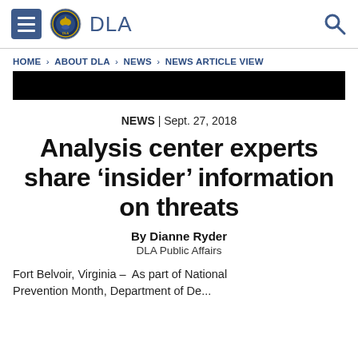DLA
HOME > ABOUT DLA > NEWS > NEWS ARTICLE VIEW
[Figure (other): Black redacted bar spanning the width of the page]
NEWS | Sept. 27, 2018
Analysis center experts share 'insider' information on threats
By Dianne Ryder
DLA Public Affairs
Fort Belvoir, Virginia  –  As part of National Prevention Month, Department of De...